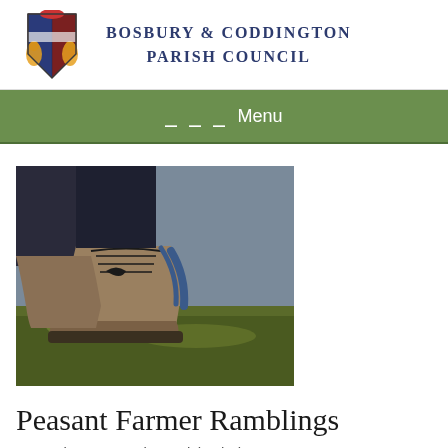Bosbury & Coddington Parish Council
[Figure (logo): Bosbury & Coddington Parish Council coat of arms logo]
[Figure (photo): Close-up photo of a person tying hiking boots on grass]
Peasant Farmer Ramblings
November 2, 2011 by Parish Clerk